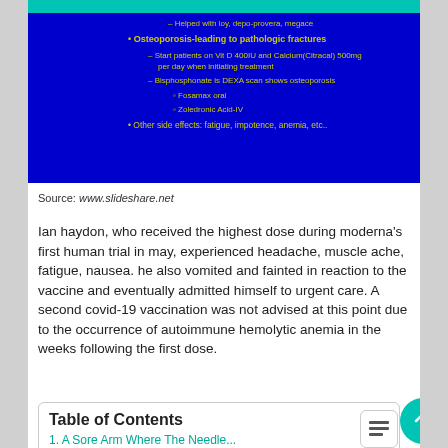[Figure (screenshot): Dark blue slide screenshot showing bullet points about Osteoporosis leading to pathologic fractures, medications (Vit D, Calcium, Bisphosphonate, DEXA scan, Fosamax oral, Zoledronic Acid-IV), and other side effects.]
Source: www.slideshare.net
Ian haydon, who received the highest dose during moderna's first human trial in may, experienced headache, muscle ache, fatigue, nausea. he also vomited and fainted in reaction to the vaccine and eventually admitted himself to urgent care. A second covid-19 vaccination was not advised at this point due to the occurrence of autoimmune hemolytic anemia in the weeks following the first dose.
Table of Contents
1. A Sore Arm Where The Needle...